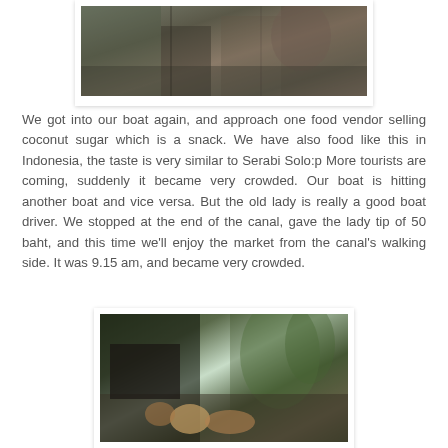[Figure (photo): Overhead/crowd scene at a floating market, people browsing vendors' goods viewed from above]
We got into our boat again, and approach one food vendor selling coconut sugar which is a snack. We have also food like this in Indonesia, the taste is very similar to Serabi Solo:p More tourists are coming, suddenly it became very crowded. Our boat is hitting another boat and vice versa. But the old lady is really a good boat driver. We stopped at the end of the canal, gave the lady tip of 50 baht, and this time we'll enjoy the market from the canal's walking side. It was 9.15 am, and became very crowded.
[Figure (photo): People on a boat in a canal at a floating market, surrounded by tropical vegetation]